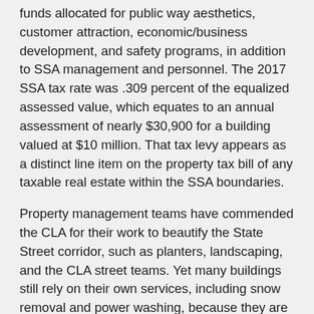funds allocated for public way aesthetics, customer attraction, economic/business development, and safety programs, in addition to SSA management and personnel. The 2017 SSA tax rate was .309 percent of the equalized assessed value, which equates to an annual assessment of nearly $30,900 for a building valued at $10 million. That tax levy appears as a distinct line item on the property tax bill of any taxable real estate within the SSA boundaries.
Property management teams have commended the CLA for their work to beautify the State Street corridor, such as planters, landscaping, and the CLA street teams. Yet many buildings still rely on their own services, including snow removal and power washing, because they are faster and more reliable. Some property managers would like to see greater transparency and communication related to services, costs and outcomes. Many feel the SSA places a disproportionate tax burden on office buildings, while mainly benefiting retail stores on the ground floor. Views from our building members also can differ based on